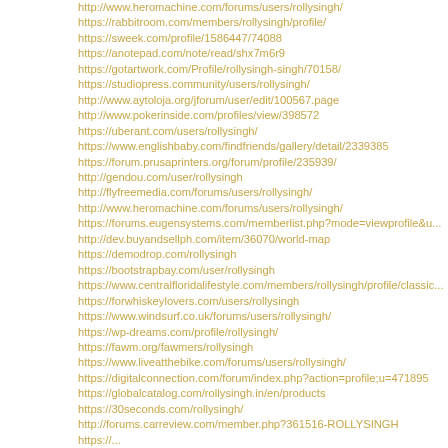http://www.heromachine.com/forums/users/rollysingh/
https://rabbitroom.com/members/rollysingh/profile/
https://sweek.com/profile/1586447/74088
https://anotepad.com/note/read/shx7m6r9
https://gotartwork.com/Profile/rollysingh-singh/70158/
https://studiopress.community/users/rollysingh/
http://www.aytoloja.org/jforum/user/edit/100567.page
http://www.pokerinside.com/profiles/view/398572
https://uberant.com/users/rollysingh/
https://www.englishbaby.com/findfriends/gallery/detail/2339385
https://forum.prusaprinters.org/forum/profile/235939/
http://gendou.com/user/rollysingh
http://flyfreemedia.com/forums/users/rollysingh/
http://www.heromachine.com/forums/users/rollysingh/
https://forums.eugensystems.com/memberlist.php?mode=viewprofile&u...
http://dev.buyandsellph.com/item/36070/world-map
https://demodrop.com/rollysingh
https://bootstrapbay.com/user/rollysingh
https://www.centralfloridalifestyle.com/members/rollysingh/profile/classic...
https://forwhiskeylovers.com/users/rollysingh
https://www.windsurf.co.uk/forums/users/rollysingh/
https://wp-dreams.com/profile/rollysingh/
https://fawm.org/fawmers/rollysingh
https://www.liveatthebike.com/forums/users/rollysingh/
https://digitalconnection.com/forum/index.php?action=profile;u=471895
https://globalcatalog.com/rollysingh.in/en/products
https://30seconds.com/rollysingh/
http://forums.carreview.com/member.php?361516-ROLLYSINGH
https://...